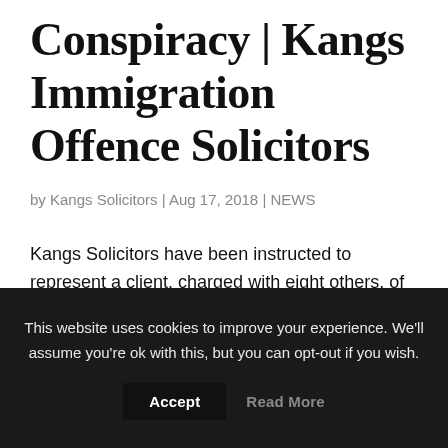Conspiracy | Kangs Immigration Offence Solicitors
by Kangs Solicitors | Aug 17, 2018 | NEWS
Kangs Solicitors have been instructed to represent a client, charged with eight others, of conspiring to
This website uses cookies to improve your experience. We'll assume you're ok with this, but you can opt-out if you wish.